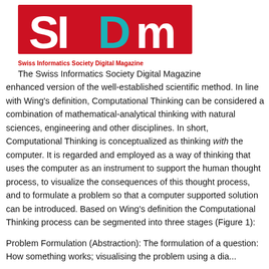[Figure (logo): SIDM logo — Swiss Informatics Society Digital Magazine — red background with teal/white letters and red tagline]
The Swiss Informatics Society Digital Magazine enhanced version of the well-established scientific method. In line with Wing's definition, Computational Thinking can be considered a combination of mathematical-analytical thinking with natural sciences, engineering and other disciplines. In short, Computational Thinking is conceptualized as thinking with the computer. It is regarded and employed as a way of thinking that uses the computer as an instrument to support the human thought process, to visualize the consequences of this thought process, and to formulate a problem so that a computer supported solution can be introduced. Based on Wing's definition the Computational Thinking process can be segmented into three stages (Figure 1):
Problem Formulation (Abstraction): The formulation of a question: How something works; visualising the problem using a diagram...